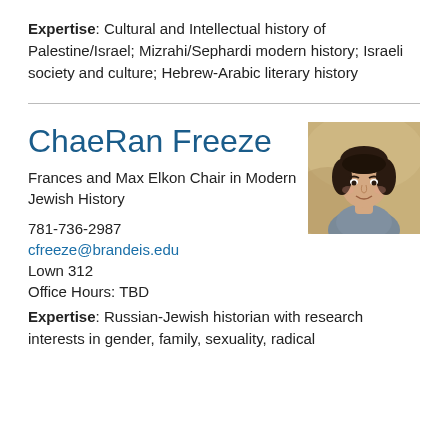Expertise: Cultural and Intellectual history of Palestine/Israel; Mizrahi/Sephardi modern history; Israeli society and culture; Hebrew-Arabic literary history
ChaeRan Freeze
Frances and Max Elkon Chair in Modern Jewish History
781-736-2987
cfreeze@brandeis.edu
Lown 312
Office Hours: TBD
[Figure (photo): Headshot photo of ChaeRan Freeze, a woman with dark hair, smiling, against a blurred background]
Expertise: Russian-Jewish historian with research interests in gender, family, sexuality, radical